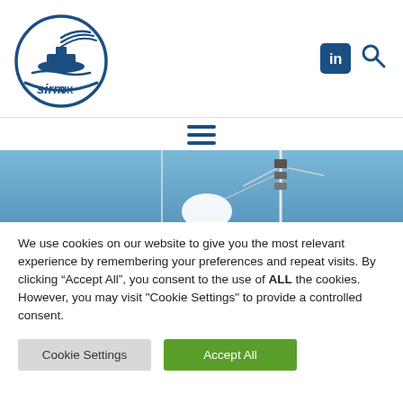[Figure (logo): SIRM UK circular logo with ship and radio waves in navy blue]
[Figure (logo): LinkedIn icon (navy blue square with 'in') and search magnifier icon]
[Figure (other): Hamburger menu icon with three horizontal navy blue lines]
[Figure (photo): Photo of ship mast with radar dome and antennas against blue sky]
We use cookies on our website to give you the most relevant experience by remembering your preferences and repeat visits. By clicking “Accept All”, you consent to the use of ALL the cookies. However, you may visit "Cookie Settings" to provide a controlled consent.
Cookie Settings
Accept All